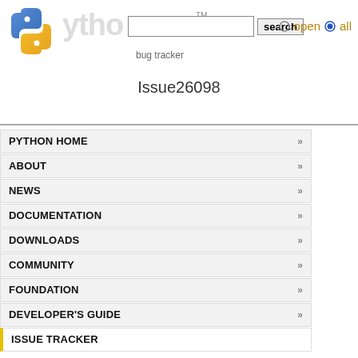Python Bug Tracker — Issue26098
PYTHON HOME
ABOUT
NEWS
DOCUMENTATION
DOWNLOADS
COMMUNITY
FOUNDATION
DEVELOPER'S GUIDE
ISSUE TRACKER
Issues
Search
Random Issue
Summaries
Issues with patch
This issue tracker has moved and is currently read-only. For more information, see Python's Developer Guide.
This issue has been migrated to https://github.com/pytho...
classification
| Field | Value | Field2 | Value2 |
| --- | --- | --- | --- |
| Title: | [WIP] PEP 510: Speci... | Stage: |  |
| Type: |  | Stage: |  |
| Components: |  | Versions: |  |